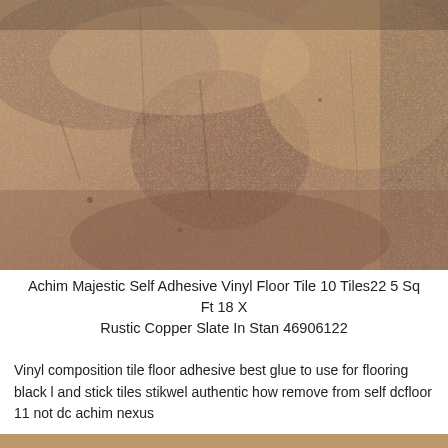[Figure (photo): Close-up photo of Achim Majestic Rustic Copper Slate vinyl floor tile texture, showing a mottled pattern of reddish-brown, tan, and dark grey tones resembling natural slate or stone.]
Achim Majestic Self Adhesive Vinyl Floor Tile 10 Tiles22 5 Sq Ft 18 X Rustic Copper Slate In Stan 46906122
Vinyl composition tile floor adhesive best glue to use for flooring black l and stick tiles stikwel authentic how remove from self dcfloor 11 not dc achim nexus